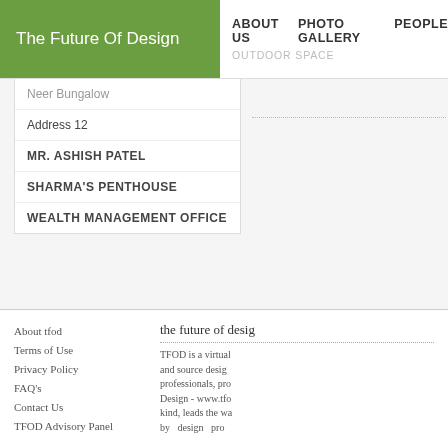The Future Of Design | ABOUT US  PHOTO GALLERY  PEOPLE | OUTDOOR SPACE
Neer Bungalow
Address 12
MR. ASHISH PATEL
SHARMA'S PENTHOUSE
WEALTH MANAGEMENT OFFICE
About tfod
Terms of Use
Privacy Policy
FAQ's
Contact Us
TFOD Advisory Panel
the future of desig...
TFOD is a virtual and source desig professionals, pro Design - www.tfo kind, leads the wa by design pro